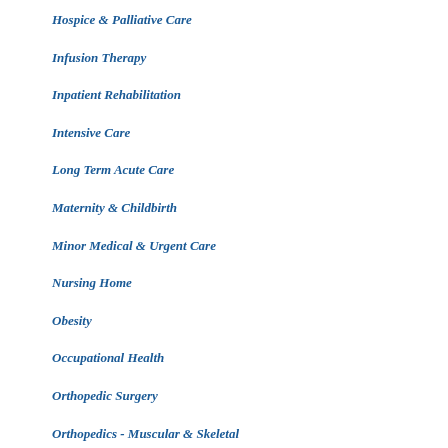Hospice & Palliative Care
Infusion Therapy
Inpatient Rehabilitation
Intensive Care
Long Term Acute Care
Maternity & Childbirth
Minor Medical & Urgent Care
Nursing Home
Obesity
Occupational Health
Orthopedic Surgery
Orthopedics - Muscular & Skeletal
Outpatient Diagnostics